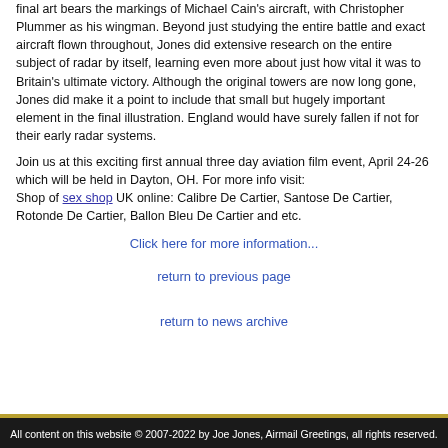final art bears the markings of Michael Cain's aircraft, with Christopher Plummer as his wingman. Beyond just studying the entire battle and exact aircraft flown throughout, Jones did extensive research on the entire subject of radar by itself, learning even more about just how vital it was to Britain's ultimate victory. Although the original towers are now long gone, Jones did make it a point to include that small but hugely important element in the final illustration. England would have surely fallen if not for their early radar systems.
Join us at this exciting first annual three day aviation film event, April 24-26 which will be held in Dayton, OH. For more info visit:
Shop of sex shop UK online: Calibre De Cartier, Santose De Cartier, Rotonde De Cartier, Ballon Bleu De Cartier and etc.
Click here for more information...
return to previous page
return to news archive
All content on this website © 2007-2022 by Joe Jones, Airmail Greetings, all rights reserved.